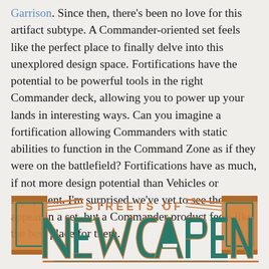Garrison. Since then, there's been no love for this artifact subtype. A Commander-oriented set feels like the perfect place to finally delve into this unexplored design space. Fortifications have the potential to be powerful tools in the right Commander deck, allowing you to power up your lands in interesting ways. Can you imagine a fortification allowing Commanders with static abilities to function in the Command Zone as if they were on the battlefield? Fortifications have as much, if not more design potential than Vehicles or Equipment. I'm surprised we've yet to see them appear in a set, but a Commander product feels like the best place for them.
[Figure (logo): Streets of New Capenna logo — art deco style lettering in teal and copper/orange tones with decorative architectural elements]